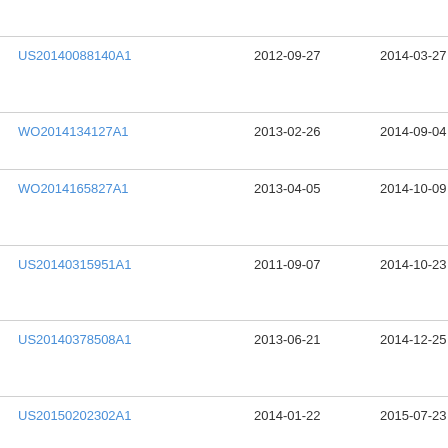| Patent | Filed | Published | Assignee |
| --- | --- | --- | --- |
|  |  |  | Ind |
| US20140088140A1 | 2012-09-27 | 2014-03-27 | Tev
Pha
Ind |
| WO2014134127A1 | 2013-02-26 | 2014-09-04 | Nor
Uni |
| WO2014165827A1 | 2013-04-05 | 2014-10-09 | Sal
Bio
Stu |
| US20140315951A1 | 2011-09-07 | 2014-10-23 | IVA
Inte
Gr |
| US20140378508A1 | 2013-06-21 | 2014-12-25 | IVA
Inte
Gr |
| US20150202302A1 | 2014-01-22 | 2015-07-23 | IVA
Inte
Gr |